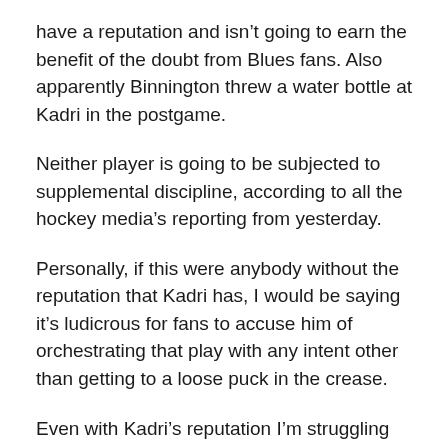have a reputation and isn't going to earn the benefit of the doubt from Blues fans. Also apparently Binnington threw a water bottle at Kadri in the postgame.
Neither player is going to be subjected to supplemental discipline, according to all the hockey media's reporting from yesterday.
Personally, if this were anybody without the reputation that Kadri has, I would be saying it's ludicrous for fans to accuse him of orchestrating that play with any intent other than getting to a loose puck in the crease.
Even with Kadri's reputation I'm struggling not to call that accusation ludicrous. Beyond that, the fact he's dealing with racist abuse and threats is unconscionable.